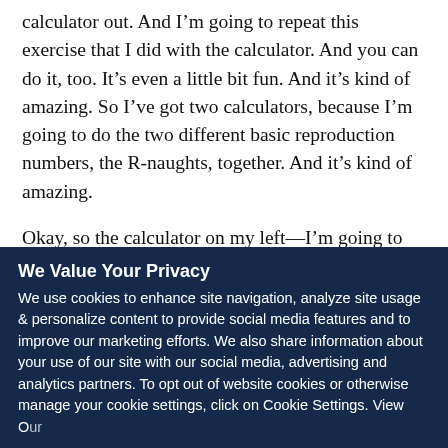calculator out. And I'm going to repeat this exercise that I did with the calculator. And you can do it, too. It's even a little bit fun. And it's kind of amazing. So I've got two calculators, because I'm going to do the two different basic reproduction numbers, the R-naughts, together. And it's kind of amazing.
Okay, so the calculator on my left—I'm going to assume 1.3 as the basic reproduction number. Each person infects 1.3 other people on average. The
We Value Your Privacy
We use cookies to enhance site navigation, analyze site usage & personalize content to provide social media features and to improve our marketing efforts. We also share information about your use of our site with our social media, advertising and analytics partners. To opt out of website cookies or otherwise manage your cookie settings, click on Cookie Settings. View Our